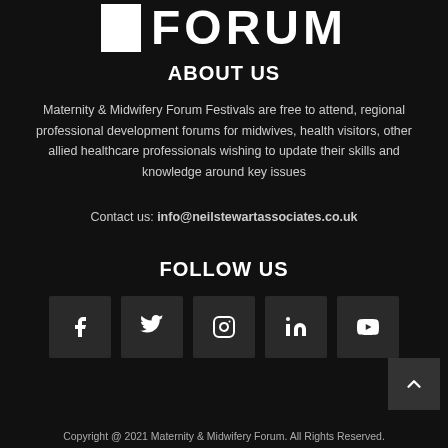[Figure (logo): Maternity & Midwifery FORUM logo with white square icon and bold white FORUM text]
ABOUT US
Maternity & Midwifery Forum Festivals are free to attend, regional professional development forums for midwives, health visitors, other allied healthcare professionals wishing to update their skills and knowledge around key issues
Contact us: info@neilstewartassociates.co.uk
FOLLOW US
[Figure (infographic): Row of 5 social media icon boxes: Facebook, Twitter, Instagram, LinkedIn, YouTube]
[Figure (other): Back to top arrow button]
Copyright @ 2021 Maternity & Midwifery Forum. All Rights Reserved.